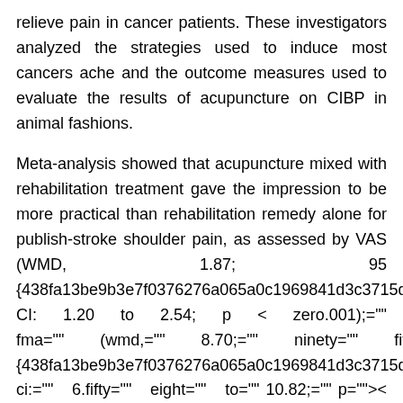relieve pain in cancer patients. These investigators analyzed the strategies used to induce most cancers ache and the outcome measures used to evaluate the results of acupuncture on CIBP in animal fashions.
Meta-analysis showed that acupuncture mixed with rehabilitation treatment gave the impression to be more practical than rehabilitation remedy alone for publish-stroke shoulder pain, as assessed by VAS (WMD, 1.87; 95 {438fa13be9b3e7f0376276a065a0c1969841d3c3715da9d9faa374e14cc72fab} CI: 1.20 to 2.54; p < zero.001);="" fma="" (wmd,="" 8.70;="" ninety="" five="" {438fa13be9b3e7f0376276a065a0c1969841d3c3715da9d9faa374e14cc72fab}="" ci:="" 6.fifty="" eight="" to="" 10.82;="" p="">< 0.001);="" and="" efficient="" price="" (rr ="" 1.31;="" 95=""